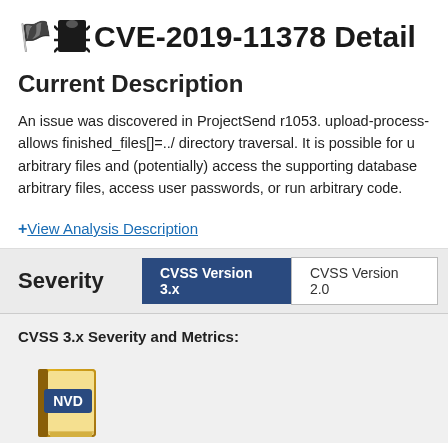CVE-2019-11378 Detail
Current Description
An issue was discovered in ProjectSend r1053. upload-process-form.php allows finished_files[]=../ directory traversal. It is possible for users to read arbitrary files and (potentially) access the supporting database, download arbitrary files, access user passwords, or run arbitrary code.
+ View Analysis Description
| Severity | CVSS Version 3.x | CVSS Version 2.0 |
| --- | --- | --- |
CVSS 3.x Severity and Metrics:
[Figure (logo): NVD book logo with gold book and NVD label]